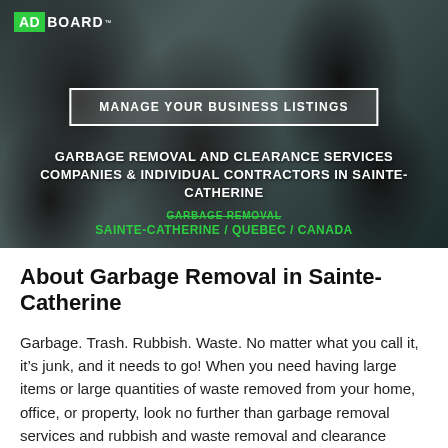[Figure (photo): Hero banner with dark garbage bags in the background]
ADBOARD™
MANAGE YOUR BUSINESS LISTINGS
GARBAGE REMOVAL AND CLEARANCE SERVICES COMPANIES & INDIVIDUAL CONTRACTORS IN SAINTE-CATHERINE
GARBAGE REMOVAL
SAINTE-CATHERINE / QUEBEC / CANADA
About Garbage Removal in Sainte-Catherine
Garbage. Trash. Rubbish. Waste. No matter what you call it, it's junk, and it needs to go! When you need having large items or large quantities of waste removed from your home, office, or property, look no further than garbage removal services and rubbish and waste removal and clearance services to get the job done. These companies specialize in the kind of large-